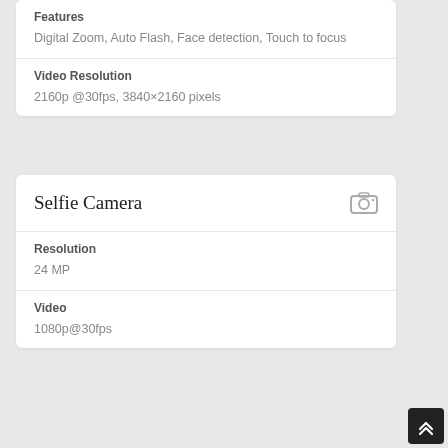Features
Digital Zoom, Auto Flash, Face detection, Touch to focus
Video Resolution
2160p @30fps, 3840×2160 pixels
Selfie Camera
Resolution
24 MP
Video
1080p@30fps